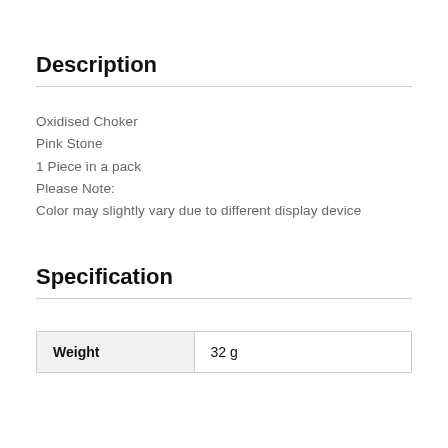Description
Oxidised Choker
Pink Stone
1 Piece in a pack
Please Note:
Color may slightly vary due to different display device
Specification
| Weight | 32 g |
| --- | --- |
| Weight | 32 g |